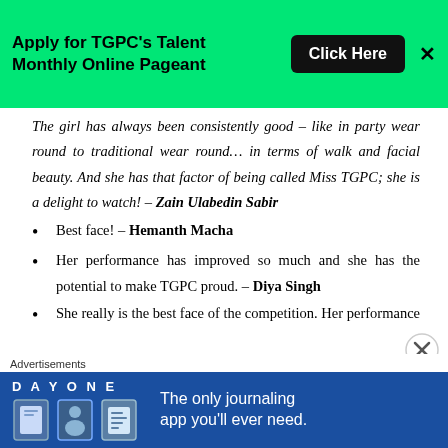[Figure (screenshot): Green banner advertisement: 'Apply for TGPC's Talent Monthly Online Pageant' with a black 'Click Here' button and an X close button]
The girl has always been consistently good – like in party wear round to traditional wear round… in terms of walk and facial beauty. And she has that factor of being called Miss TGPC; she is a delight to watch! – Zain Ulabedin Sabir
Best face! – Hemanth Macha
Her performance has improved so much and she has the potential to make TGPC proud. – Diya Singh
She really is the best face of the competition. Her performance really shone in party wear and style icon competitions. All she needs is proper grooming
Advertisements
[Figure (screenshot): Day One journaling app advertisement: 'The only journaling app you'll ever need.' with icons on blue background]